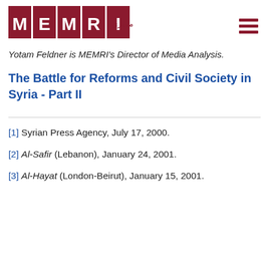MEMRI logo and navigation
Yotam Feldner is MEMRI's Director of Media Analysis.
The Battle for Reforms and Civil Society in Syria - Part II
[1] Syrian Press Agency, July 17, 2000.
[2] Al-Safir (Lebanon), January 24, 2001.
[3] Al-Hayat (London-Beirut), January 15, 2001.